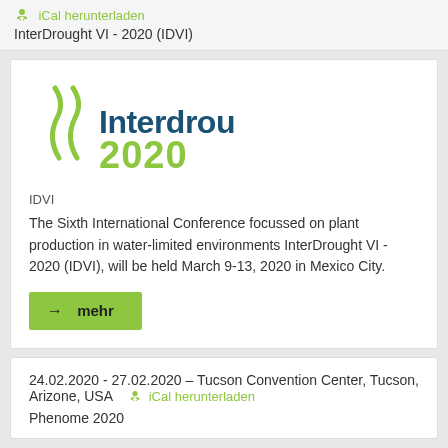iCal herunterladen
InterDrought VI - 2020 (IDVI)
[Figure (logo): Interdrought 2020 logo with green leaf/wave graphic and teal 'Interdrought' text and green '2020' text]
IDVI
The Sixth International Conference focussed on plant production in water-limited environments InterDrought VI - 2020 (IDVI), will be held March 9-13, 2020 in Mexico City.
→ mehr
24.02.2020 - 27.02.2020 – Tucson Convention Center, Tucson, Arizone, USA   iCal herunterladen
Phenome 2020